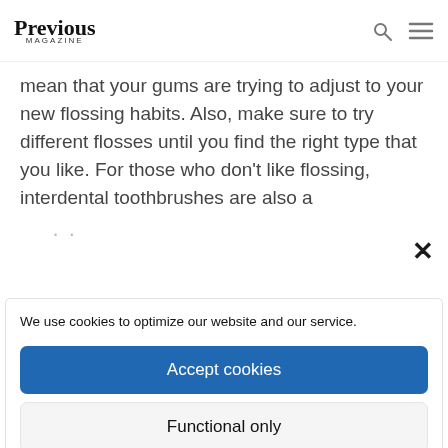Previous Magazine
mean that your gums are trying to adjust to your new flossing habits. Also, make sure to try different flosses until you find the right type that you like. For those who don't like flossing, interdental toothbrushes are also a
We use cookies to optimize our website and our service.
Accept cookies
Functional only
View preferences
Cookie Policy   Privacy Policy